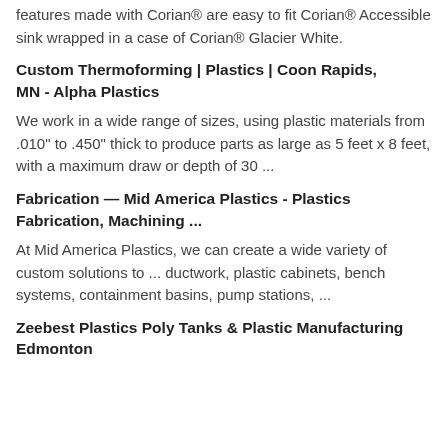features made with Corian® are easy to fit Corian® Accessible sink wrapped in a case of Corian® Glacier White.
Custom Thermoforming | Plastics | Coon Rapids, MN - Alpha Plastics
We work in a wide range of sizes, using plastic materials from .010" to .450" thick to produce parts as large as 5 feet x 8 feet, with a maximum draw or depth of 30 ...
Fabrication — Mid America Plastics - Plastics Fabrication, Machining ...
At Mid America Plastics, we can create a wide variety of custom solutions to ... ductwork, plastic cabinets, bench systems, containment basins, pump stations, ...
Zeebest Plastics Poly Tanks & Plastic Manufacturing Edmonton